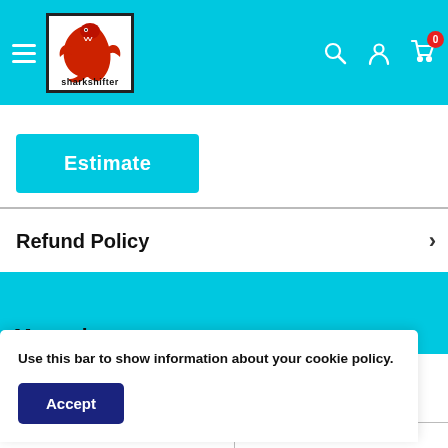[Figure (logo): Sharkshifter logo with red shark/dragon graphic and text 'sharkshifter' below, white background, black border]
Estimate
Refund Policy
Use this bar to show information about your cookie policy.
Accept